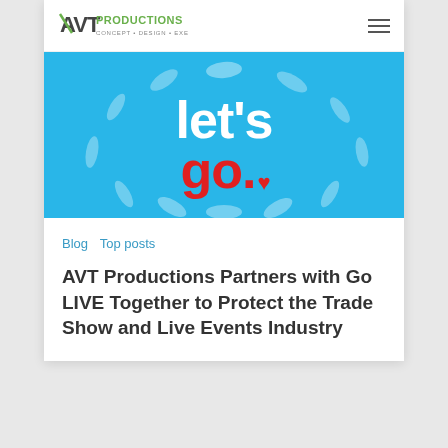AVT Productions — logo and navigation
[Figure (illustration): Blue banner with white text 'let's' and red bold text 'go.' with a small red heart, surrounded by white brushstroke dashes radiating outward on a sky-blue background.]
Blog   Top posts
AVT Productions Partners with Go LIVE Together to Protect the Trade Show and Live Events Industry